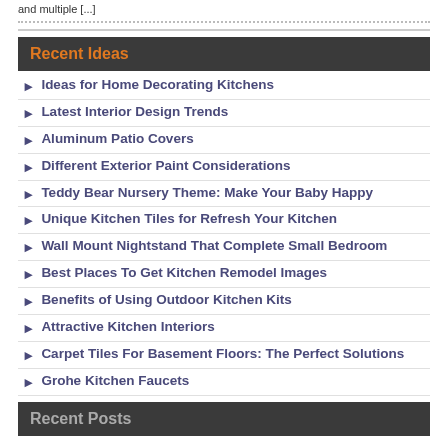and multiple [...]
Recent Ideas
Ideas for Home Decorating Kitchens
Latest Interior Design Trends
Aluminum Patio Covers
Different Exterior Paint Considerations
Teddy Bear Nursery Theme: Make Your Baby Happy
Unique Kitchen Tiles for Refresh Your Kitchen
Wall Mount Nightstand That Complete Small Bedroom
Best Places To Get Kitchen Remodel Images
Benefits of Using Outdoor Kitchen Kits
Attractive Kitchen Interiors
Carpet Tiles For Basement Floors: The Perfect Solutions
Grohe Kitchen Faucets
Recent Posts